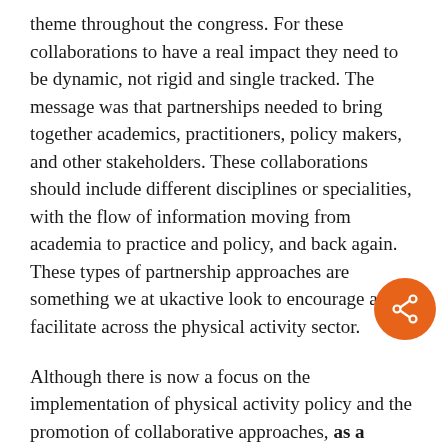theme throughout the congress. For these collaborations to have a real impact they need to be dynamic, not rigid and single tracked. The message was that partnerships needed to bring together academics, practitioners, policy makers, and other stakeholders. These collaborations should include different disciplines or specialities, with the flow of information moving from academia to practice and policy, and back again. These types of partnership approaches are something we at ukactive look to encourage and facilitate across the physical activity sector.

Although there is now a focus on the implementation of physical activity policy and the promotion of collaborative approaches, as a scientific community we must not lose sight of the evidence base that has allowed this to happen. We